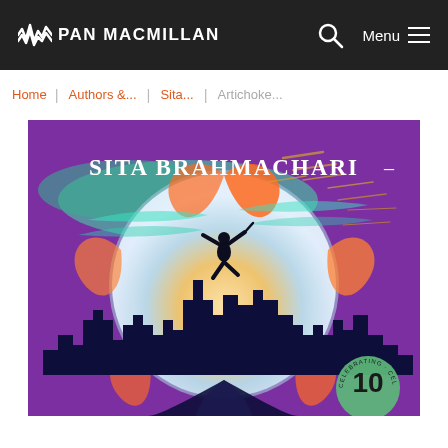PAN MACMILLAN
Home
Authors &...
Sita...
Artichoke...
[Figure (illustration): Book cover for Sita Brahmachari - purple background with a silhouette of a person jumping against a circular sky, city skyline at bottom, 10th anniversary badge in corner. Author name 'SITA BRAHMACHARI' in white text at top.]